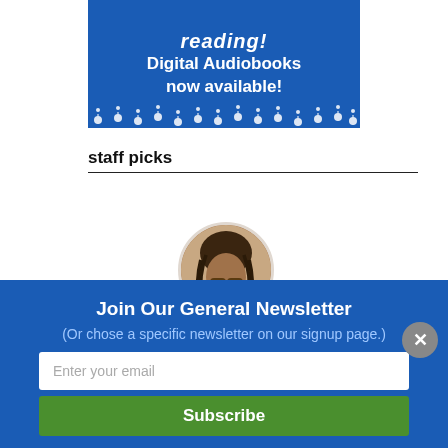[Figure (illustration): Blue promotional banner for Digital Audiobooks with white floral designs at the bottom and italic text 'reading!' at top, bold text 'Digital Audiobooks now available!']
staff picks
[Figure (photo): Circular avatar photo of a person with dreadlocks and glasses, looking down]
Join Our General Newsletter
(Or chose a specific newsletter on our signup page.)
Enter your email
Subscribe